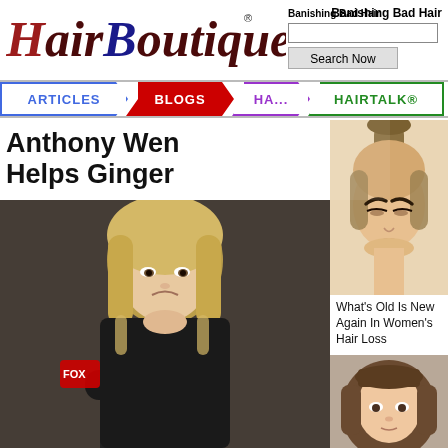Banishing Bad Hair
[Figure (logo): HairBoutique.com logo in red/dark red italic serif font with registered trademark symbol]
[Figure (screenshot): Search input box and Search Now button]
ARTICLES
BLOGS
HA...
HAIRTALK®
Anthony Wen Helps Ginger
[Figure (photo): Blonde woman at microphone looking sad, press conference setting]
[Figure (photo): Woman with dark hair in high ponytail, head bowed down]
[Figure (photo): Young woman with long auburn/red braided hair, smiling]
What's Old Is New Again In Women's Hair Loss
My Hair's Thinning Fast What Should I Do?
[Figure (photo): Woman with brown bob haircut with bangs]
[Figure (photo): Blonde woman with flower accessory, close-up face]